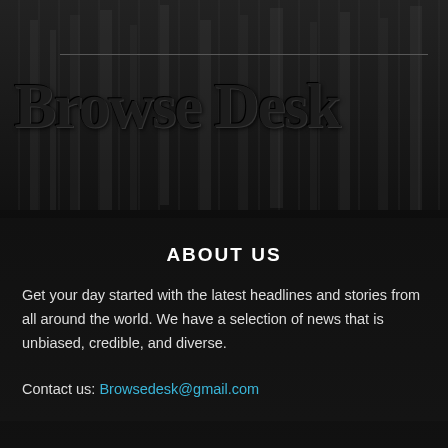[Figure (illustration): Dark gothic/newspaper background image with a city scene, faint architectural columns and structures visible in low contrast behind the Browse Desk brand title]
Browse Desk
ABOUT US
Get your day started with the latest headlines and stories from all around the world. We have a selection of news that is unbiased, credible, and diverse.
Contact us: Browsedesk@gmail.com